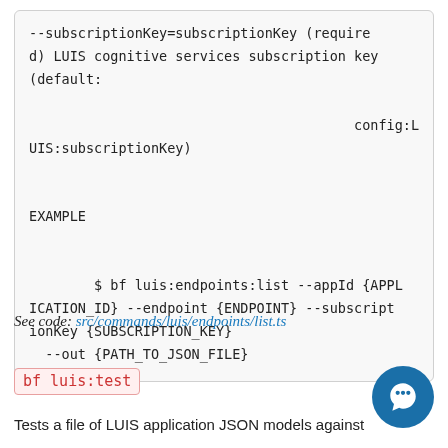--subscriptionKey=subscriptionKey (required) LUIS cognitive services subscription key (default:
                                        config:LUIS:subscriptionKey)

EXAMPLE

        $ bf luis:endpoints:list --appId {APPLICATION_ID} --endpoint {ENDPOINT} --subscriptionKey {SUBSCRIPTION_KEY}
  --out {PATH_TO_JSON_FILE}
See code: src/commands/luis/endpoints/list.ts
bf luis:test
Tests a file of LUIS application JSON models against...